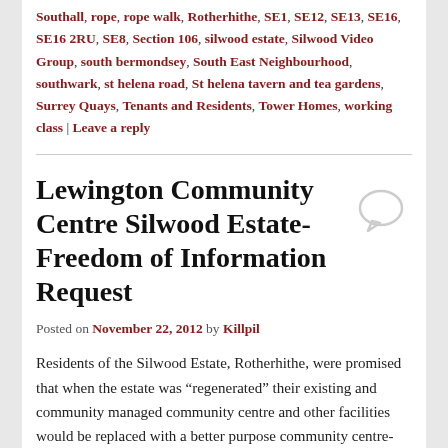Southall, rope, rope walk, Rotherhithe, SE1, SE12, SE13, SE16, SE16 2RU, SE8, Section 106, silwood estate, Silwood Video Group, south bermondsey, South East Neighbourhood, southwark, st helena road, St helena tavern and tea gardens, Surrey Quays, Tenants and Residents, Tower Homes, working class | Leave a reply
Lewington Community Centre Silwood Estate- Freedom of Information Request
Posted on November 22, 2012 by Killpil
Residents of the Silwood Estate, Rotherhithe, were promised that when the estate was “regenerated” their existing and community managed community centre and other facilities would be replaced with a better purpose community centre- later called the Lewington Centre.